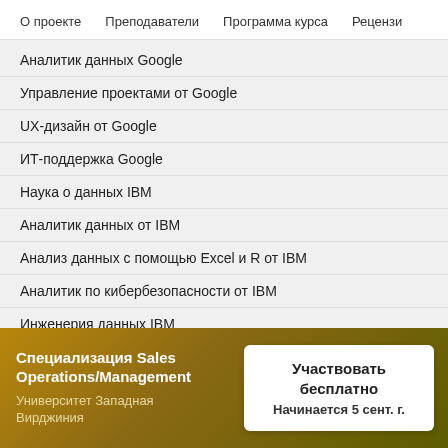О проекте   Преподаватели   Программа курса   Рецензи
Аналитик данных Google
Управление проектами от Google
UX-дизайн от Google
ИТ-поддержка Google
Наука о данных IBM
Аналитик данных от IBM
Анализ данных с помощью Excel и R от IBM
Аналитик по кибербезопасности от IBM
Инженерия данных IBM
Разработчик комплексных облачных приложений IBM
Маркетинг в социальных сетях от Facebook
Специализация Sales Operations/Management
Университет Западная Вирджиния
Участвовать бесплатно
Начинается 5 сент. г.